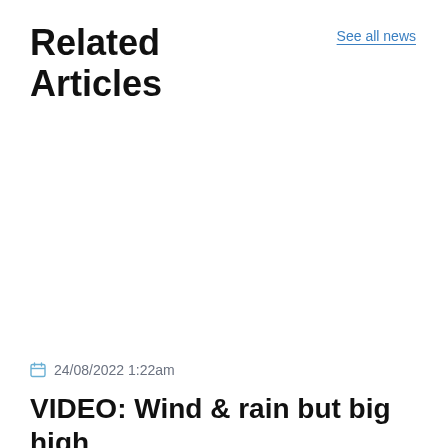Related Articles
See all news
24/08/2022 1:22am
VIDEO: Wind & rain but big high